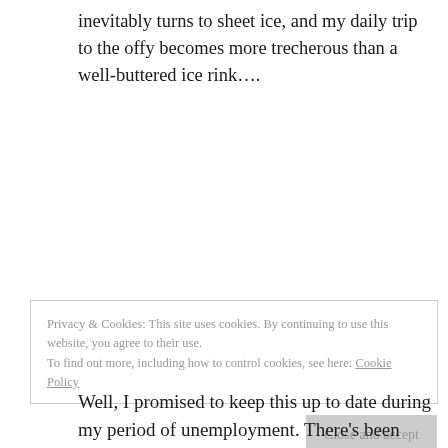inevitably turns to sheet ice, and my daily trip to the offy becomes more trecherous than a well-buttered ice rink….
Privacy & Cookies: This site uses cookies. By continuing to use this website, you agree to their use.
To find out more, including how to control cookies, see here: Cookie Policy
Close and accept
Well, I promised to keep this up to date during my period of unemployment. There's been some good